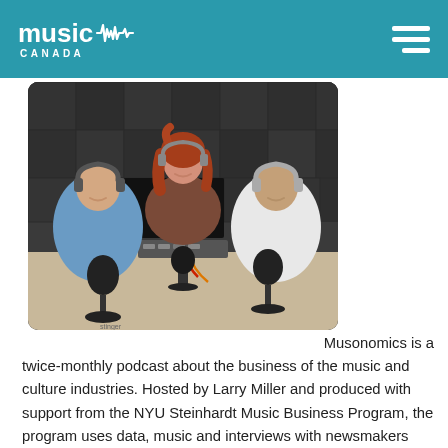Music Canada
[Figure (photo): Three people in a podcast recording studio — two men seated at microphones with headphones, and a woman with red hair standing between them wearing headphones, all smiling.]
Musonomics is a twice-monthly podcast about the business of the music and culture industries. Hosted by Larry Miller and produced with support from the NYU Steinhardt Music Business Program, the program uses data, music and interviews with newsmakers and analysts to